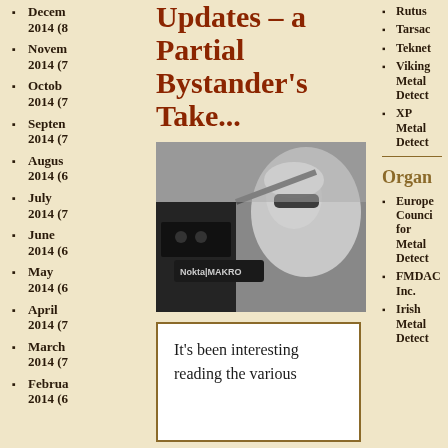Decem 2014 (8
Novem 2014 (7
Octob 2014 (7
Septen 2014 (7
Augus 2014 (6
July 2014 (7
June 2014 (6
May 2014 (6
April 2014 (7
March 2014 (7
Februa 2014 (6
Updates – a Partial Bystander's Take...
[Figure (photo): Black and white photo of a person wearing sunglasses using a Nokta|MAKRO metal detector]
It's been interesting reading the various
Rutus
Tarsac
Teknet
Viking Metal Detect
XP Metal Detect
Organ
Europe Counci for Metal Detect
FMDAC Inc.
Irish Metal Detect